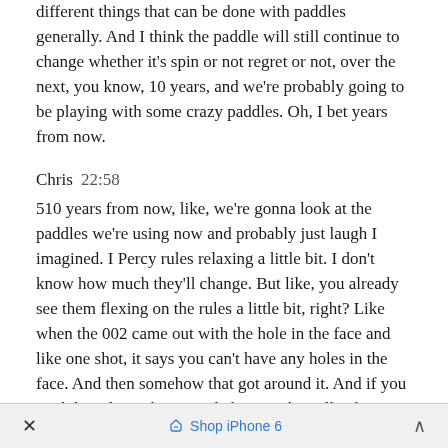different things that can be done with paddles generally. And I think the paddle will still continue to change whether it's spin or not regret or not, over the next, you know, 10 years, and we're probably going to be playing with some crazy paddles. Oh, I bet years from now.
Chris  22:58
510 years from now, like, we're gonna look at the paddles we're using now and probably just laugh I imagined. I Percy rules relaxing a little bit. I don't know how much they'll change. But like, you already see them flexing on the rules a little bit, right? Like when the 002 came out with the hole in the face and like one shot, it says you can't have any holes in the face. And then somehow that got around it. And if you read the rules right now, I believe technically, they say, you can't have any texture on the paddle that helps
× Shop iPhone 6 ∧